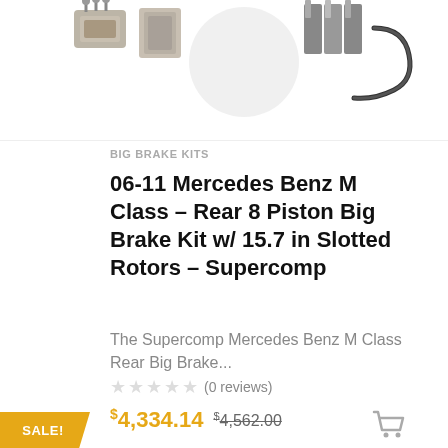[Figure (photo): Product photo showing brake kit components including calipers, rotors, hardware and brake lines on white background]
BIG BRAKE KITS
06-11 Mercedes Benz M Class – Rear 8 Piston Big Brake Kit w/ 15.7 in Slotted Rotors – Supercomp
The Supercomp Mercedes Benz M Class Rear Big Brake...
★★★★★ (0 reviews)
$4,334.14  $4,562.00
SALE!